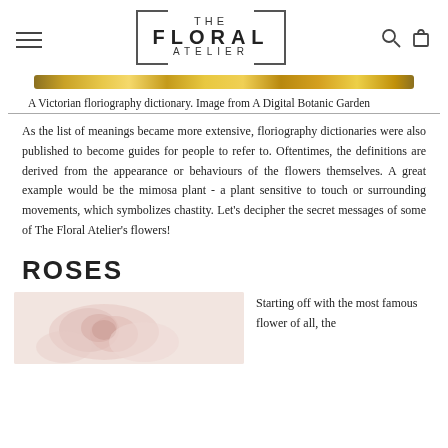THE FLORAL ATELIER
[Figure (illustration): Golden decorative bar/ribbon element]
A Victorian floriography dictionary. Image from A Digital Botanic Garden
As the list of meanings became more extensive, floriography dictionaries were also published to become guides for people to refer to. Oftentimes, the definitions are derived from the appearance or behaviours of the flowers themselves. A great example would be the mimosa plant - a plant sensitive to touch or surrounding movements, which symbolizes chastity. Let's decipher the secret messages of some of The Floral Atelier's flowers!
ROSES
[Figure (photo): Light pink roses photograph]
Starting off with the most famous flower of all, the